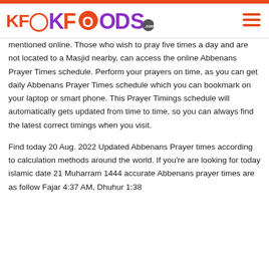KFOODS.com
mentioned online. Those who wish to pray five times a day and are not located to a Masjid nearby, can access the online Abbenans Prayer Times schedule. Perform your prayers on time, as you can get daily Abbenans Prayer Times schedule which you can bookmark on your laptop or smart phone. This Prayer Timings schedule will automatically gets updated from time to time, so you can always find the latest correct timings when you visit.
Find today 20 Aug. 2022 Updated Abbenans Prayer times according to calculation methods around the world. If you're are looking for today islamic date 21 Muharram 1444 accurate Abbenans prayer times are as follow Fajar 4:37 AM, Dhuhur 1:38